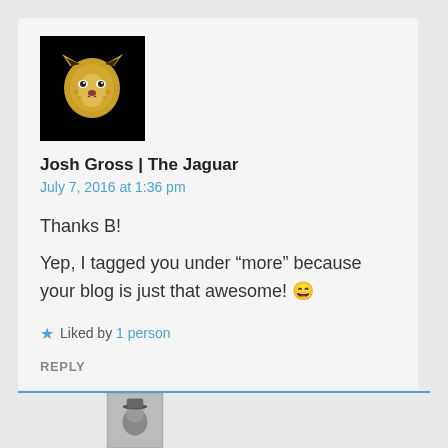[Figure (photo): Black square avatar image with a gold jaguar head logo]
Josh Gross | The Jaguar
July 7, 2016 at 1:36 pm
Thanks B!
Yep, I tagged you under “more” because your blog is just that awesome! 😄
★ Liked by 1 person
REPLY